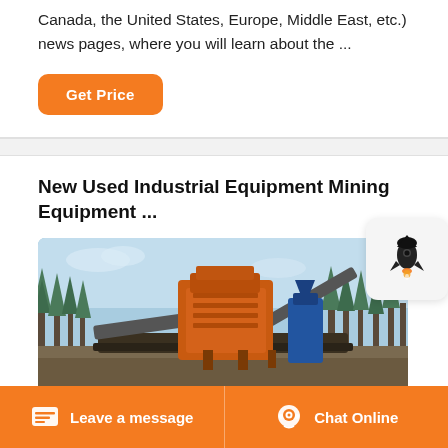Canada, the United States, Europe, Middle East, etc.) news pages, where you will learn about the ...
Get Price
New Used Industrial Equipment Mining Equipment ...
[Figure (photo): Outdoor photo of large orange industrial mining equipment/crusher with conveyor belts, surrounded by bare trees under a blue sky.]
[Figure (other): Rocket icon widget (small floating button with a rocket/launch icon on a light grey rounded square background).]
Leave a message
Chat Online